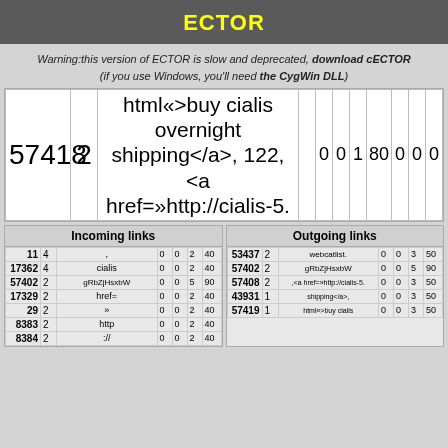ECTOR
Warning:this version of ECTOR is slow and deprecated, download cECTOR (if you use Windows, you'll need the CygWin DLL)
| ID | N | Content | c1 | c2 | c3 | c4 | c5 | c6 | c7 |
| --- | --- | --- | --- | --- | --- | --- | --- | --- | --- |
| 57418 | 2 | html«>buy cialis overnight shipping</a>, 122, <a href=»http://cialis-5. |  |  | 0 | 0 | 1 | 80 | 0 | 0 | 0 |
Incoming links
Outgoing links
| ID | N | Word | 0 | 0 | 2 | 40 |
| --- | --- | --- | --- | --- | --- | --- |
| 11 | 4 | , | 0 | 0 | 2 | 40 |
| 17362 | 4 | cialis | 0 | 0 | 2 | 40 |
| 57402 | 2 | gRbZjHsxbW | 0 | 0 | 5 | 90 |
| 17329 | 2 | href= | 0 | 0 | 2 | 40 |
| 29 | 2 | » | 0 | 0 | 2 | 40 |
| 8383 | 2 | http | 0 | 0 | 2 | 40 |
| 8384 | 2 | :// | 0 | 0 | 2 | 40 |
| ID | N | Word | 0 | 0 | 3 | 50 |
| --- | --- | --- | --- | --- | --- | --- |
| 53437 | 2 | webcatlist. | 0 | 0 | 3 | 50 |
| 57402 | 2 | gRbZjHsxbW | 0 | 0 | 5 | 90 |
| 57408 | 2 | ,<a href=»http://cialis-5. | 0 | 0 | 3 | 50 |
| 43931 | 1 | shipping</a>, | 0 | 0 | 3 | 50 |
| 57419 | 1 | html«>buy cialis | 0 | 0 | 3 | 50 |